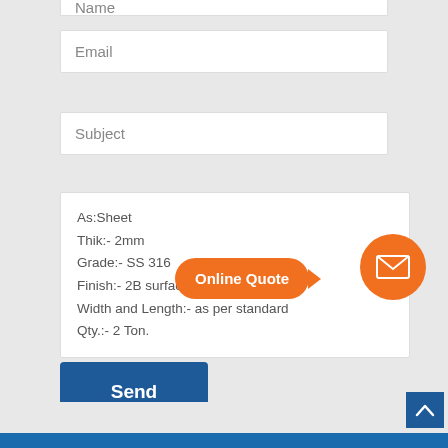Name
Email
Subject
As:Sheet
Thik:- 2mm
Grade:- SS 316
Finish:- 2B surface
Width and Length:- as per standard
Qty.:- 2 Ton.
Online Quote
Send